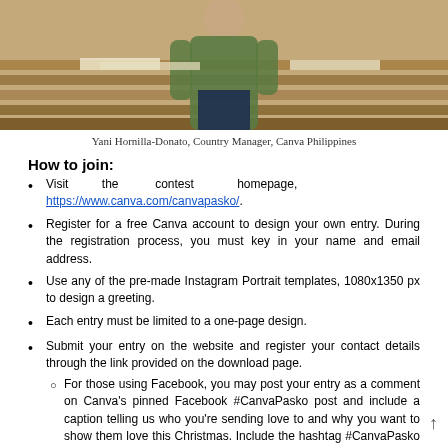[Figure (photo): Photo of Yani Hornilla-Donato standing in a room with wooden benches, wearing a green/olive top]
Yani Hornilla-Donato, Country Manager, Canva Philippines
How to join:
Visit the contest homepage, https://www.canva.com/canvapasko/.
Register for a free Canva account to design your own entry. During the registration process, you must key in your name and email address.
Use any of the pre-made Instagram Portrait templates, 1080x1350 px to design a greeting.
Each entry must be limited to a one-page design.
Submit your entry on the website and register your contact details through the link provided on the download page.
For those using Facebook, you may post your entry as a comment on Canva's pinned Facebook #CanvaPasko post and include a caption telling us who you're sending love to and why you want to show them love this Christmas. Include the hashtag #CanvaPasko in your comment.